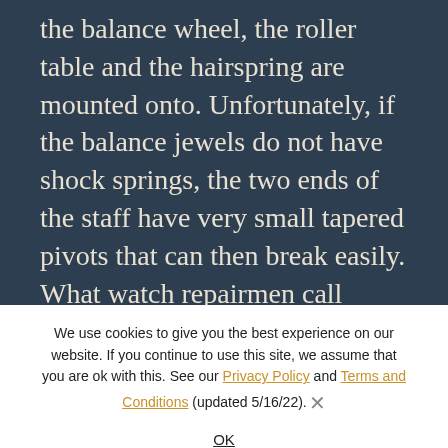the balance wheel, the roller table and the hairspring are mounted onto. Unfortunately, if the balance jewels do not have shock springs, the two ends of the staff have very small tapered pivots that can then break easily. What watch repairmen call 'staffing' involves removing a broken watch balance staff and replacing it with a new one. Modern luxury watch brands like Rolex, Jaeger LeCoultre, Omega, Tag Heuer, Hamilton, Rado, Longines and IWC employ shock protection, and this has greatly lessened the frequency of broken balance staff
We use cookies to give you the best experience on our website. If you continue to use this site, we assume that you are ok with this. See our Privacy Policy and Terms and Conditions (updated 5/16/22).
OK